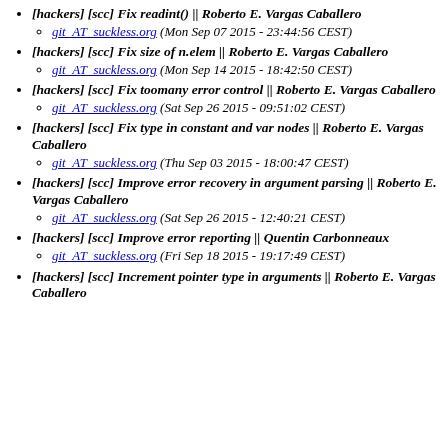[hackers] [scc] Fix readint() || Roberto E. Vargas Caballero
git_AT_suckless.org (Mon Sep 07 2015 - 23:44:56 CEST)
[hackers] [scc] Fix size of n.elem || Roberto E. Vargas Caballero
git_AT_suckless.org (Mon Sep 14 2015 - 18:42:50 CEST)
[hackers] [scc] Fix toomany error control || Roberto E. Vargas Caballero
git_AT_suckless.org (Sat Sep 26 2015 - 09:51:02 CEST)
[hackers] [scc] Fix type in constant and var nodes || Roberto E. Vargas Caballero
git_AT_suckless.org (Thu Sep 03 2015 - 18:00:47 CEST)
[hackers] [scc] Improve error recovery in argument parsing || Roberto E. Vargas Caballero
git_AT_suckless.org (Sat Sep 26 2015 - 12:40:21 CEST)
[hackers] [scc] Improve error reporting || Quentin Carbonneaux
git_AT_suckless.org (Fri Sep 18 2015 - 19:17:49 CEST)
[hackers] [scc] Increment pointer type in arguments || Roberto E. Vargas Caballero